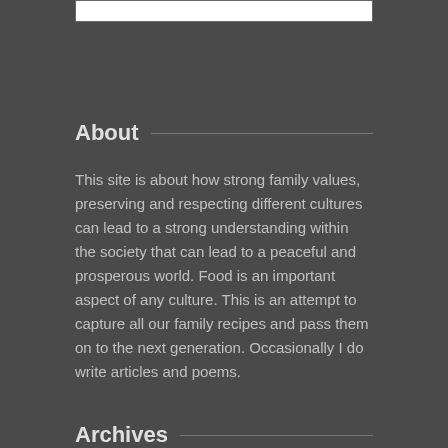About
This site is about how strong family values, preserving and respecting different cultures can lead to a strong understanding within the society that can lead to a peaceful and prosperous world. Food is an important aspect of any culture. This is an attempt to capture all our family recipes and pass them on to the next generation. Occasionally I do write articles and poems.
Archives